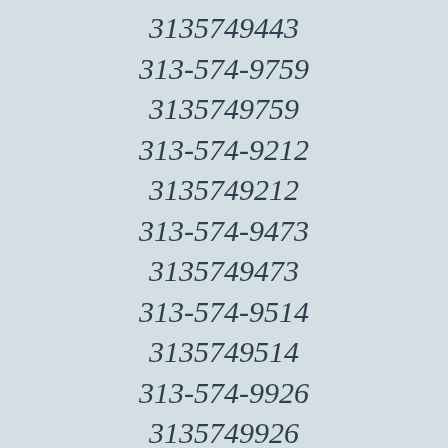3135749443
313-574-9759
3135749759
313-574-9212
3135749212
313-574-9473
3135749473
313-574-9514
3135749514
313-574-9926
3135749926
313-574-9841
3135749841
313-574-9472
3135749472
313-574-9100